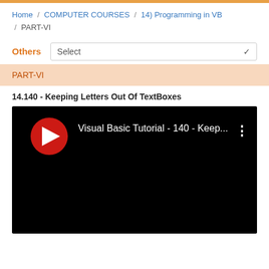Home / COMPUTER COURSES / 14) Programming in VB / PART-VI
Others
PART-VI
14.140 - Keeping Letters Out Of TextBoxes
[Figure (screenshot): YouTube-style video thumbnail showing a red play button circle with white chevron arrow, and text 'Visual Basic Tutorial - 140 - Keep...' with three-dot menu icon on a black background.]